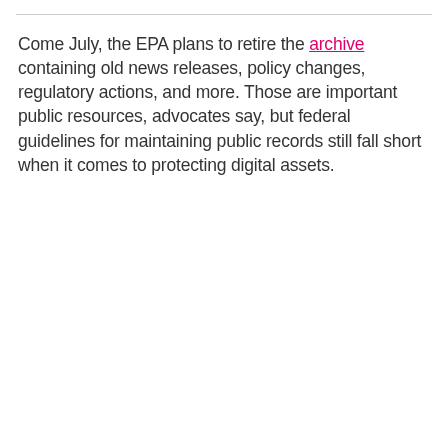Come July, the EPA plans to retire the archive containing old news releases, policy changes, regulatory actions, and more. Those are important public resources, advocates say, but federal guidelines for maintaining public records still fall short when it comes to protecting digital assets.